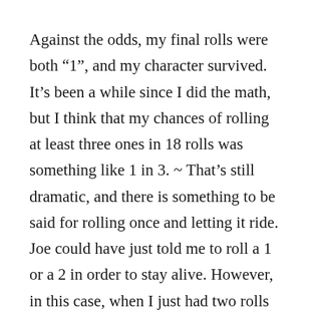Against the odds, my final rolls were both “1”, and my character survived. It’s been a while since I did the math, but I think that my chances of rolling at least three ones in 18 rolls was something like 1 in 3. ~ That’s still dramatic, and there is something to be said for rolling once and letting it ride. Joe could have just told me to roll a 1 or a 2 in order to stay alive. However, in this case, when I just had two rolls left my chances of rolling 2 ones was only 1 in 36. Pretty nerve wracking. The last roll had a 1:6 chance of making it.
That was certainly a memorable moment, and one where the uncertainty and tension made things fun. Despite what Han Solo said, often the best thing to do is